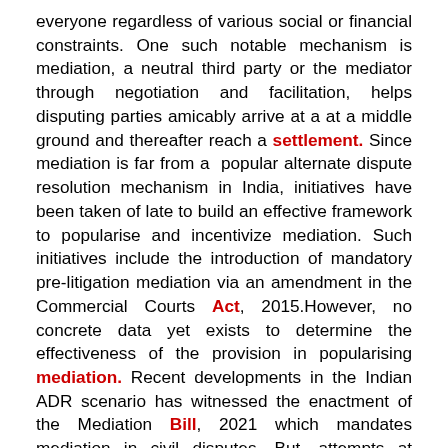everyone regardless of various social or financial constraints. One such notable mechanism is mediation, a neutral third party or the mediator through negotiation and facilitation, helps disputing parties amicably arrive at a at a middle ground and thereafter reach a settlement. Since mediation is far from a popular alternate dispute resolution mechanism in India, initiatives have been taken of late to build an effective framework to popularise and incentivize mediation. Such initiatives include the introduction of mandatory pre-litigation mediation via an amendment in the Commercial Courts Act, 2015.However, no concrete data yet exists to determine the effectiveness of the provision in popularising mediation. Recent developments in the Indian ADR scenario has witnessed the enactment of the Mediation Bill, 2021 which mandates mediation in civil disputes. But, attempts at mandating mediation have been vehemently opposed to prevent depletion